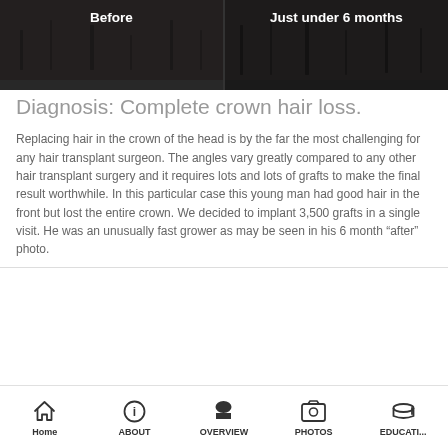[Figure (photo): Before and after comparison photo strip showing hair loss at crown. Left panel labeled 'Before', right panel labeled 'Just under 6 months'.]
Diagnosis: Complete crown hair loss.
Replacing hair in the crown of the head is by the far the most challenging for any hair transplant surgeon. The angles vary greatly compared to any other hair transplant surgery and it requires lots and lots of grafts to make the final result worthwhile. In this particular case this young man had good hair in the front but lost the entire crown. We decided to implant 3,500 grafts in a single visit. He was an unusually fast grower as may be seen in his 6 month “after” photo.
Home | ABOUT | OVERVIEW | PHOTOS | EDUCATI...